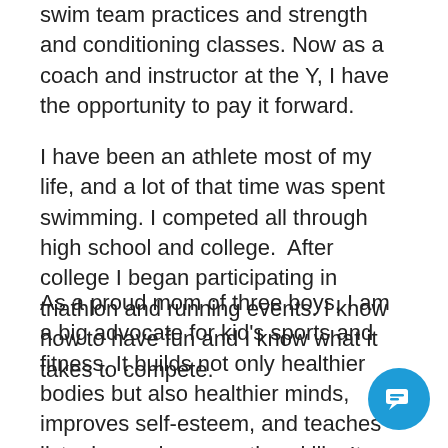swim team practices and strength and conditioning classes. Now as a coach and instructor at the Y, I have the opportunity to pay it forward.
I have been an athlete most of my life, and a lot of that time was spent swimming. I competed all through high school and college.  After college I began participating in triathlon and running events. I know how to have fun and I know what it takes to compete.
As a proud mom of three boys, I am a big advocate for kid's sports and fitness. It builds not only healthier bodies but also healthier minds, improves self-esteem, and teaches listening and cooperative skills. It can also teach kids how to win and lose with dignity and how to have good sportsmanship. These are important characteristics needed for kids to grow into healthy